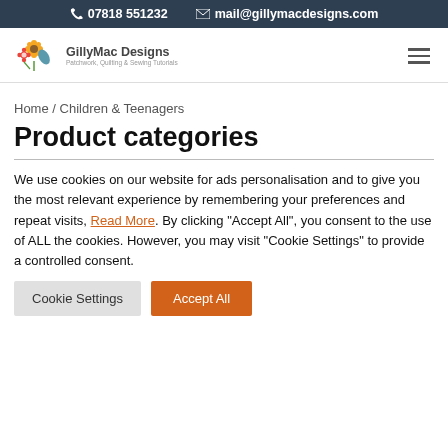07818 551232   mail@gillymacdesigns.com
[Figure (logo): GillyMac Designs logo with flower illustration and tagline 'Patchwork, Quilting & Sewing Tutorials']
Home / Children & Teenagers
Product categories
We use cookies on our website for ads personalisation and to give you the most relevant experience by remembering your preferences and repeat visits, Read More. By clicking "Accept All", you consent to the use of ALL the cookies. However, you may visit "Cookie Settings" to provide a controlled consent.
Cookie Settings   Accept All